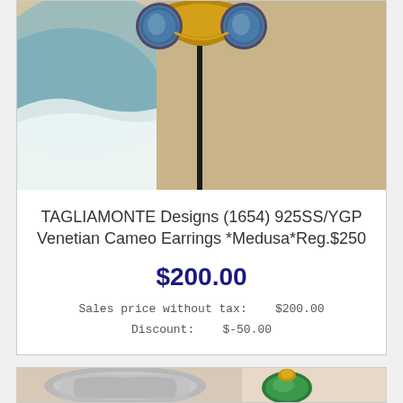[Figure (photo): Photo of TAGLIAMONTE Venetian Cameo Earrings with blue cameo and gold ornate setting, displayed against a sandy beach background]
TAGLIAMONTE Designs (1654) 925SS/YGP Venetian Cameo Earrings *Medusa*Reg.$250
$200.00
Sales price without tax:    $200.00
Discount:    $-50.00
[Figure (photo): Photo of ornate silver decorative item with green jade-like stone and gold accents, displayed against a peach/cream background]